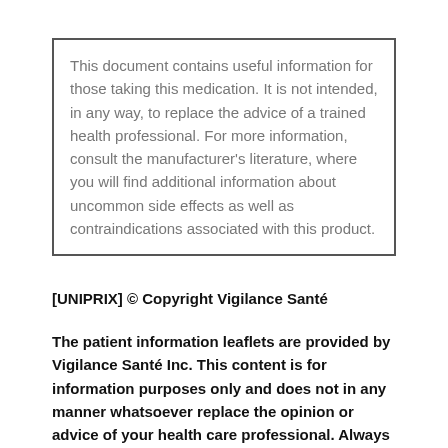This document contains useful information for those taking this medication. It is not intended, in any way, to replace the advice of a trained health professional. For more information, consult the manufacturer's literature, where you will find additional information about uncommon side effects as well as contraindications associated with this product.
[UNIPRIX] © Copyright Vigilance Santé
The patient information leaflets are provided by Vigilance Santé Inc. This content is for information purposes only and does not in any manner whatsoever replace the opinion or advice of your health care professional. Always consult a health care professional before making a decision about your medication or treatment.